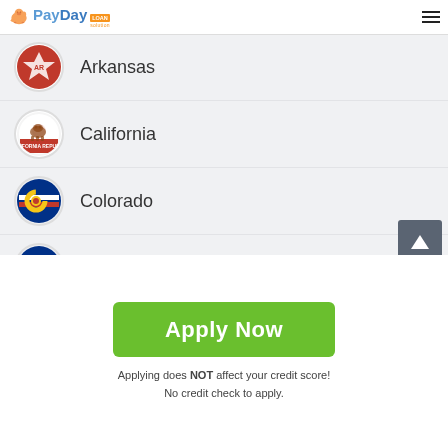PayDay Loan Solution
Arkansas
California
Colorado
Connecticut
Delaware
Florida
Apply Now
Applying does NOT affect your credit score!
No credit check to apply.